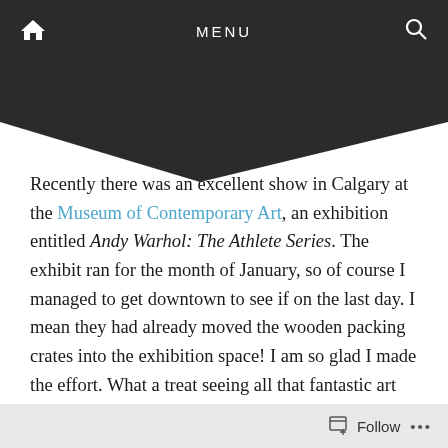MENU
Recently there was an excellent show in Calgary at the Museum of Contemporary Art, an exhibition entitled Andy Warhol: The Athlete Series. The exhibit ran for the month of January, so of course I managed to get downtown to see if on the last day. I mean they had already moved the wooden packing crates into the exhibition space! I am so glad I made the effort. What a treat seeing all that fantastic art right at my doorstep, and what an idiot I am waiting for the last day! But I did see it, and here’s a peak.
The exhibition features 10 Warhol paintings of Muhammed Ali,